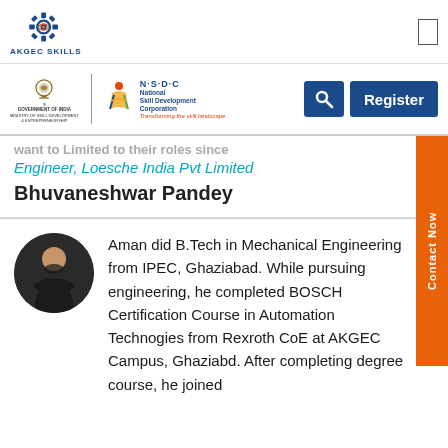[Figure (logo): AKGEC Skills logo with gear icon]
[Figure (logo): Government of India Ministry of Skill Development & Entrepreneurship emblem and NSDC National Skill Development Corporation logo with tagline 'Transforming the skill landscape']
Engineer, Loesche India Pvt Limited
Bhuvaneshwar Pandey
[Figure (photo): Profile photo of Aman, a young man in a black shirt]
Aman did B.Tech in Mechanical Engineering from IPEC, Ghaziabad. While pursuing engineering, he completed BOSCH Certification Course in Automation Technogies from Rexroth CoE at AKGEC Campus, Ghaziabd. After completing degree course, he joined